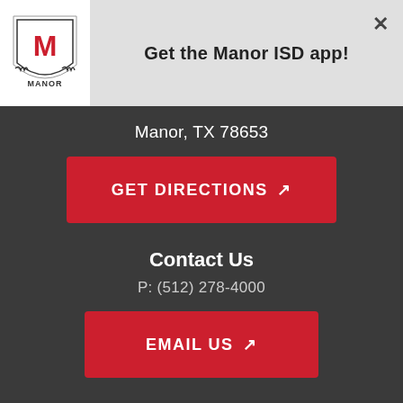[Figure (logo): Manor ISD shield logo with laurel wreath and red M emblem]
Get the Manor ISD app!
✕
Manor, TX 78653
GET DIRECTIONS ↗
Contact Us
P: (512) 278-4000
EMAIL US ↗